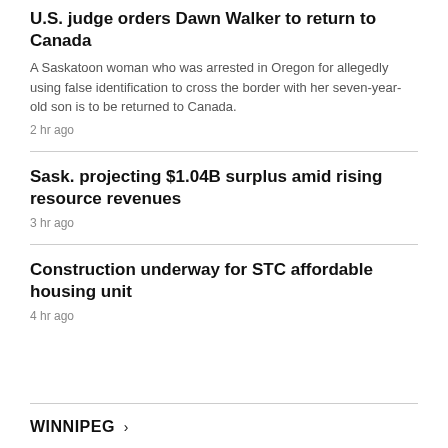U.S. judge orders Dawn Walker to return to Canada
A Saskatoon woman who was arrested in Oregon for allegedly using false identification to cross the border with her seven-year-old son is to be returned to Canada.
2 hr ago
Sask. projecting $1.04B surplus amid rising resource revenues
3 hr ago
Construction underway for STC affordable housing unit
4 hr ago
WINNIPEG >